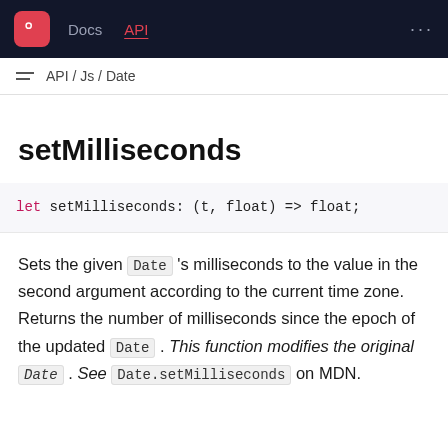Docs  API  ...
API / Js / Date
setMilliseconds
Sets the given Date 's milliseconds to the value in the second argument according to the current time zone. Returns the number of milliseconds since the epoch of the updated Date . This function modifies the original Date . See Date.setMilliseconds on MDN.